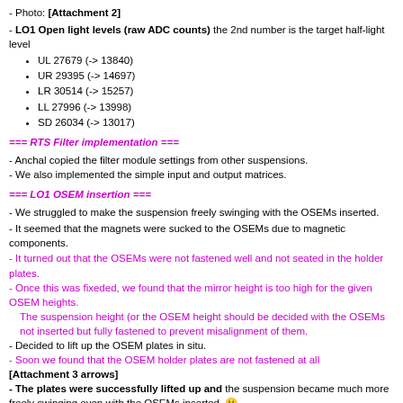- Photo: [Attachment 2]
- LO1 Open light levels (raw ADC counts) the 2nd number is the target half-light level
UL 27679 (-> 13840)
UR 29395 (-> 14697)
LR 30514 (-> 15257)
LL 27996 (-> 13998)
SD 26034 (-> 13017)
=== RTS Filter implementation ===
- Anchal copied the filter module settings from other suspensions.
- We also implemented the simple input and output matrices.
=== LO1 OSEM insertion ===
- We struggled to make the suspension freely swinging with the OSEMs inserted.
- It seemed that the magnets were sucked to the OSEMs due to magnetic components.
- It turned out that the OSEMs were not fastened well and not seated in the holder plates.
- Once this was fixeded, we found that the mirror height is too high for the given OSEM heights.
The suspension height (or the OSEM height should be decided with the OSEMs not inserted but fully fastened to prevent misalignment of them.
- Decided to lift up the OSEM plates in situ.
- Soon we found that the OSEM holder plates are not fastened at all [Attachment 3 arrows]
- The plates were successfully lifted up and the suspension became much more freely swinging even with the OSEMs inserted.